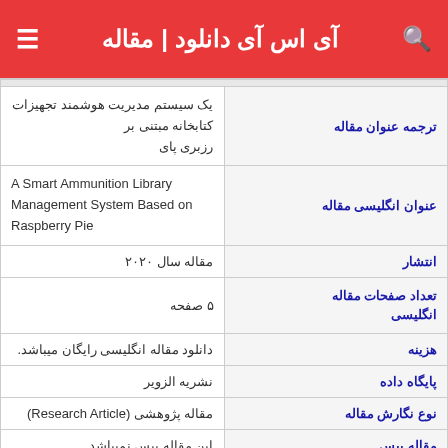آی اس آی دانلود | مقاله
| برچسب | مقدار |
| --- | --- |
| ترجمه عنوان مقاله | یک سیستم مدیریت هوشمند تجهیزات کتابخانه مبتنی بر رزبری پای |
| عنوان انگلیسی مقاله | A Smart Ammunition Library Management System Based on Raspberry Pie |
| انتشار | مقاله سال ۲۰۲۰ |
| تعداد صفحات مقاله انگلیسی | ۵ صفحه |
| هزینه | دانلود مقاله انگلیسی رایگان میباشد. |
| پایگاه داده | نشریه الزویر |
| نوع نگارش مقاله | مقاله پژوهشی (Research Article) |
| مقاله بیس | این مقاله بیس نمیباشد |
| نوع مقاله | ISI |